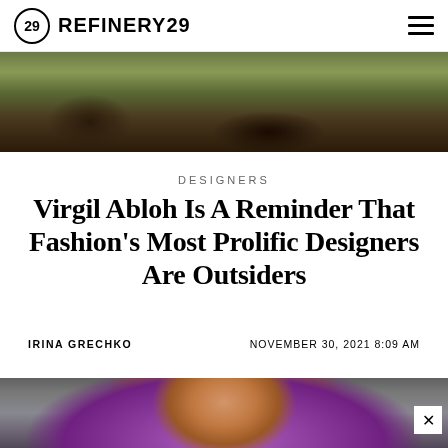REFINERY29
[Figure (photo): Fashion show scene with models walking on a natural outdoor runway with grass and earth tones]
DESIGNERS
Virgil Abloh Is A Reminder That Fashion's Most Prolific Designers Are Outsiders
IRINA GRECHKO    NOVEMBER 30, 2021 8:09 AM
[Figure (photo): A woman with short orange hair wearing a black mask and purple/magenta outfit at a fashion event]